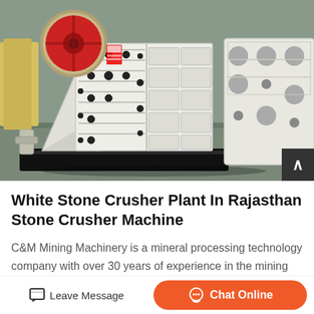[Figure (photo): Industrial jaw crusher / stone crusher machine in white and black color, shown in a factory or warehouse setting with concrete floor. The machine has a large red flywheel on the left, a ribbed white body frame, and a black steel base. A second crusher unit is partially visible on the right.]
White Stone Crusher Plant In Rajasthan Stone Crusher Machine
C&M Mining Machinery is a mineral processing technology company with over 30 years of experience in the mining and aggregate industries, Producing a modern mobile crusher